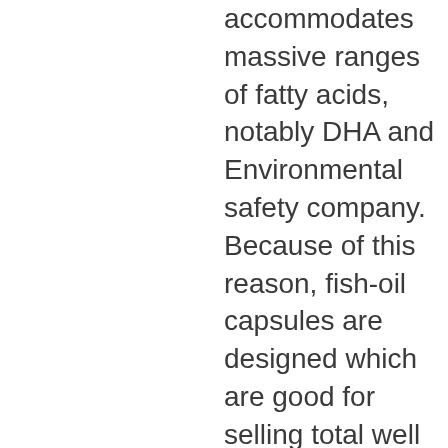accommodates massive ranges of fatty acids, notably DHA and Environmental safety company. Because of this reason, fish-oil capsules are designed which are good for selling total well being and also will straightforward for you to.
You can choose from recent mint, strawberry lemonade, tropic breeze, blue raspberry, and a lot of different flavors. Over the past